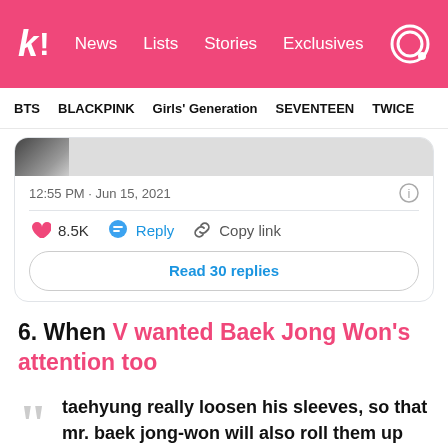k! News Lists Stories Exclusives
BTS  BLACKPINK  Girls' Generation  SEVENTEEN  TWICE
[Figure (screenshot): Partial tweet screenshot showing image strip]
12:55 PM · Jun 15, 2021
8.5K  Reply  Copy link
Read 30 replies
6. When V wanted Baek Jong Won's attention too
taehyung really loosen his sleeves, so that mr. baek jong-won will also roll them up like what he did to jin. his smile is so endearing towards tae as he